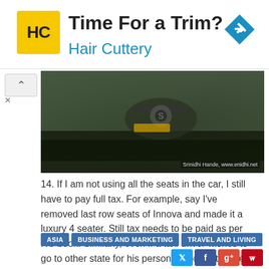[Figure (illustration): Hair Cuttery advertisement banner with yellow logo, bold title 'Time For a Trim?', subtitle 'Hair Cuttery' in blue, and a blue diamond navigation arrow icon on the right]
[Figure (photo): Photograph of cars/vehicles taken from behind a windshield, showing front grilles and headlights of cars including what appears to be a Maruti Suzuki, with watermark 'Srinidhi Hande, www.enidhi.net']
14. If I am not using all the seats in the car, I still have to pay full tax. For example, say I've removed last row seats of Innova and made it a luxury 4 seater. Still tax needs to be paid as per RC book. Similarly, even if a taxi driver wishes to go to other state for his personal work or to take his family for an outing, tax still needs to be coughed up.
ASIA
BUSINESS AND MARKETING
TRAVEL AND LIVING